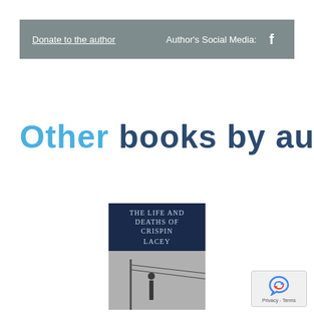Donate to the author    Author's Social Media: [Facebook icon]
Other books by author...
[Figure (photo): Book cover showing 'THE LIFE AND DEATHS OF CRISPIN LACEY' with a dark blue top section and black-and-white photograph below]
[Figure (other): reCAPTCHA badge with recycling-style arrow icon and 'Privacy - Terms' text]